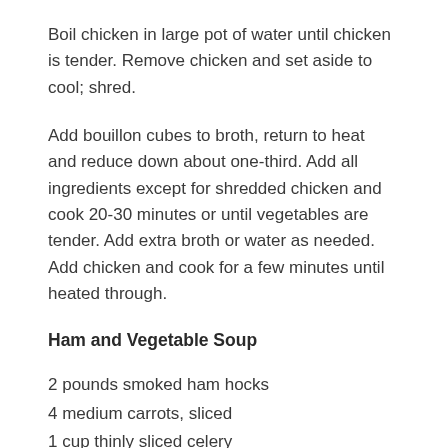Boil chicken in large pot of water until chicken is tender. Remove chicken and set aside to cool; shred.
Add bouillon cubes to broth, return to heat and reduce down about one-third. Add all ingredients except for shredded chicken and cook 20-30 minutes or until vegetables are tender. Add extra broth or water as needed. Add chicken and cook for a few minutes until heated through.
Ham and Vegetable Soup
2 pounds smoked ham hocks
4 medium carrots, sliced
1 cup thinly sliced celery
1 medium onion, chopped